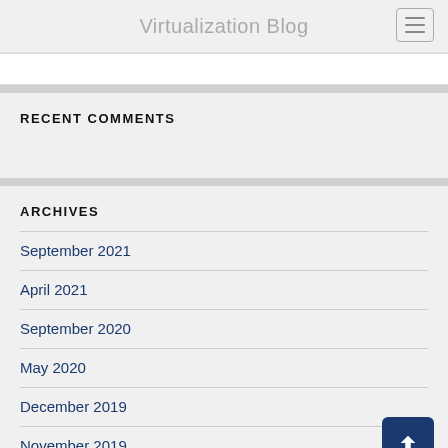Virtualization Blog
RECENT COMMENTS
ARCHIVES
September 2021
April 2021
September 2020
May 2020
December 2019
November 2019